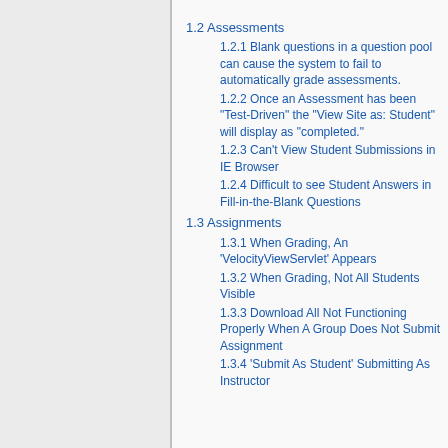1.2 Assessments
1.2.1 Blank questions in a question pool can cause the system to fail to automatically grade assessments.
1.2.2 Once an Assessment has been "Test-Driven" the "View Site as: Student" will display as "completed."
1.2.3 Can't View Student Submissions in IE Browser
1.2.4 Difficult to see Student Answers in Fill-in-the-Blank Questions
1.3 Assignments
1.3.1 When Grading, An 'VelocityViewServlet' Appears
1.3.2 When Grading, Not All Students Visible
1.3.3 Download All Not Functioning Properly When A Group Does Not Submit Assignment
1.3.4 'Submit As Student' Submitting As Instructor